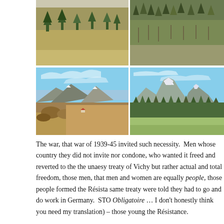[Figure (photo): Four landscape photographs arranged in a 2x2 grid showing mountain and woodland scenery. Top left: dry grassland with sparse pine trees on hillside. Top right: forested hillside with bare trees. Bottom left: wide valley with mountains and blue sky, snow-capped peaks. Bottom right: snow-capped mountain peaks with forested slopes and open fields below.]
The war, that war of 1939-45 invited such necessity.  Men whose country they did not invite nor condone, who wanted it freed and reverted to the uneasy treaty of Vichy but rather actual and total freedom, those men, that men and women are equally people, those people formed the Résista same treaty were told they had to go and do work in Germany.  STO Obligatoire … I don't honestly think you need my translation) – those young the Résistance.